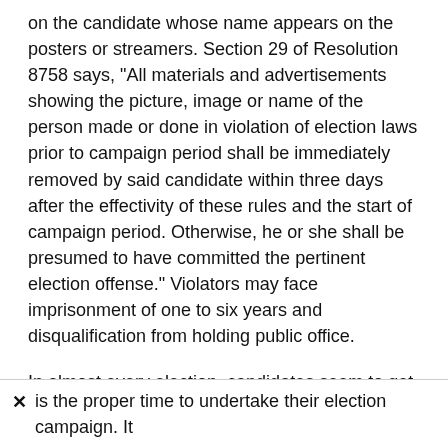on the candidate whose name appears on the posters or streamers. Section 29 of Resolution 8758 says, "All materials and advertisements showing the picture, image or name of the person made or done in violation of election laws prior to campaign period shall be immediately removed by said candidate within three days after the effectivity of these rules and the start of campaign period. Otherwise, he or she shall be presumed to have committed the pertinent election offense." Violators may face imprisonment of one to six years and disqualification from holding public office.
In almost every election, candidates seem to get away with violating the rule limiting the use of campaign materials–the placement, sizes and kinds.
is the proper time to undertake their election campaign. It